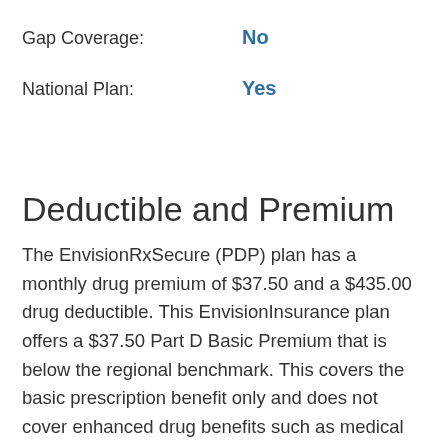Gap Coverage: No
National Plan: Yes
Deductible and Premium
The EnvisionRxSecure (PDP) plan has a monthly drug premium of $37.50 and a $435.00 drug deductible. This EnvisionInsurance plan offers a $37.50 Part D Basic Premium that is below the regional benchmark. This covers the basic prescription benefit only and does not cover enhanced drug benefits such as medical